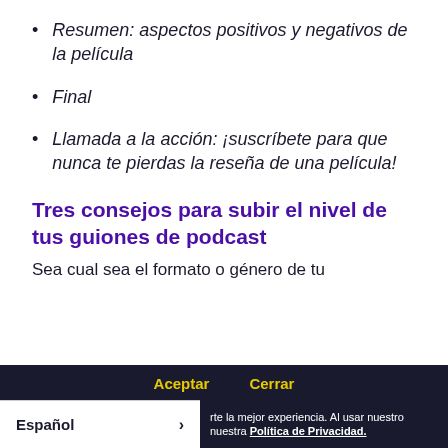Resumen: aspectos positivos y negativos de la película
Final
Llamada a la acción: ¡suscríbete para que nunca te pierdas la reseña de una película!
Tres consejos para subir el nivel de tus guiones de podcast
Sea cual sea el formato o género de tu